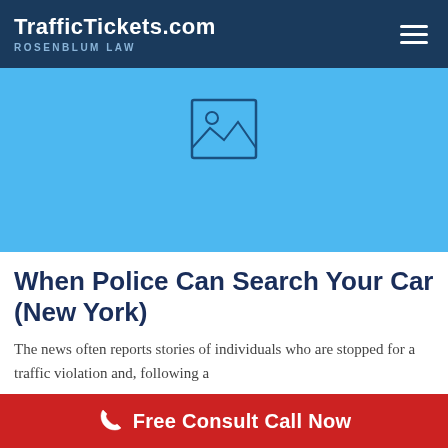TrafficTickets.com ROSENBLUM LAW
[Figure (illustration): Blue image placeholder area with a generic image icon (mountain/landscape placeholder) centered near the top]
When Police Can Search Your Car (New York)
The news often reports stories of individuals who are stopped for a traffic violation and, following a
Free Consult Call Now